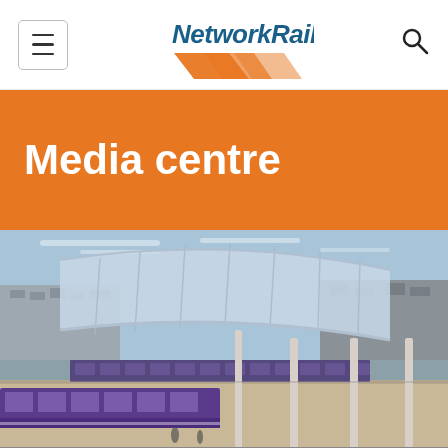NetworkRail — Media centre page header with menu, logo, and search
Media centre
[Figure (photo): Interior photograph of a large railway station with a curved glass and steel roof canopy. Purple/blue trains are visible at the platforms below. The station building and city architecture are visible in the background under a blue sky.]